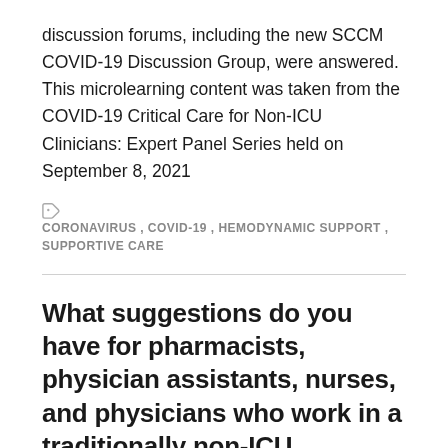discussion forums, including the new SCCM COVID-19 Discussion Group, were answered. This microlearning content was taken from the COVID-19 Critical Care for Non-ICU Clinicians: Expert Panel Series held on September 8, 2021
CORONAVIRUS, COVID-19, HEMODYNAMIC SUPPORT, SUPPORTIVE CARE
What suggestions do you have for pharmacists, physician assistants, nurses, and physicians who work in a traditionally non-ICU environment who want to obtain further skills and knowledge to care for critically ill, difficult to manage patients?